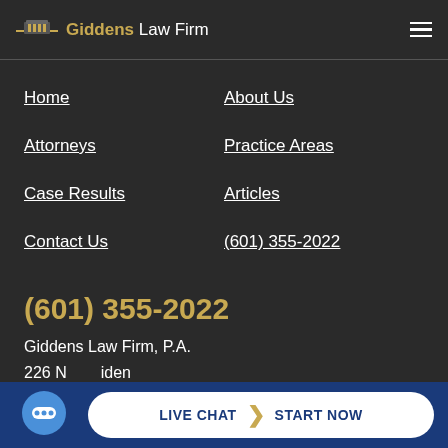Giddens Law Firm
Home
About Us
Attorneys
Practice Areas
Case Results
Articles
Contact Us
(601) 355-2022
(601) 355-2022
Giddens Law Firm, P.A.
226 N... iden...
[Figure (screenshot): Live chat widget bar at bottom with chat bubble icon and 'LIVE CHAT > START NOW' button]